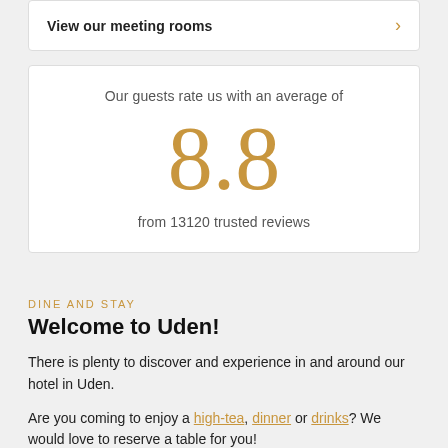View our meeting rooms
Our guests rate us with an average of
8.8
from 13120 trusted reviews
DINE AND STAY
Welcome to Uden!
There is plenty to discover and experience in and around our hotel in Uden.
Are you coming to enjoy a high-tea, dinner or drinks? We would love to reserve a table for you!